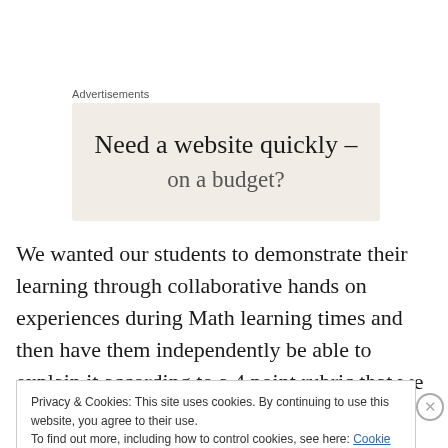Advertisements
[Figure (illustration): Advertisement banner with beige/cream background showing text 'Need a website quickly –' with partial second line visible (on a budget?)]
We wanted our students to demonstrate their learning through collaborative hands on experiences during Math learning times and then have them independently be able to explain it according to a 4 point rubric that we helped
Privacy & Cookies: This site uses cookies. By continuing to use this website, you agree to their use.
To find out more, including how to control cookies, see here: Cookie Policy
Close and accept